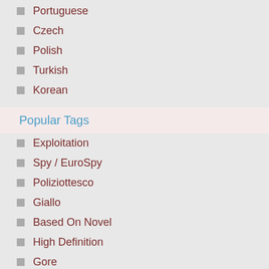Portuguese
Czech
Polish
Turkish
Korean
Popular Tags
Exploitation
Spy / EuroSpy
Poliziottesco
Giallo
Based On Novel
High Definition
Gore